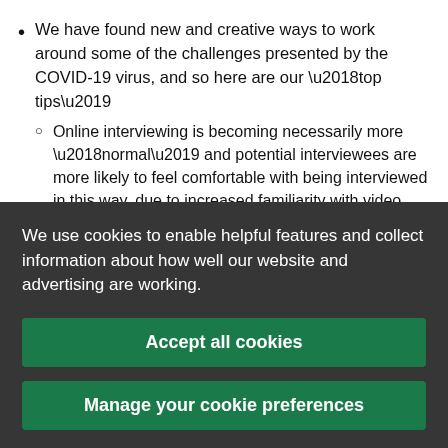We have found new and creative ways to work around some of the challenges presented by the COVID-19 virus, and so here are our ‘top tips’
Online interviewing is becoming necessarily more ‘normal’ and potential interviewees are more likely to feel comfortable with being interviewed in this way, due to increased familiarity with video calling platforms. Likewise, WhatsApp has
We use cookies to enable helpful features and collect information about how well our website and advertising are working.
Accept all cookies
Manage your cookie preferences